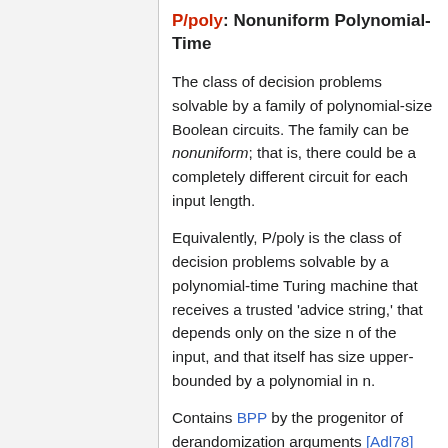P/poly: Nonuniform Polynomial-Time
The class of decision problems solvable by a family of polynomial-size Boolean circuits. The family can be nonuniform; that is, there could be a completely different circuit for each input length.
Equivalently, P/poly is the class of decision problems solvable by a polynomial-time Turing machine that receives a trusted 'advice string,' that depends only on the size n of the input, and that itself has size upper-bounded by a polynomial in n.
Contains BPP by the progenitor of derandomization arguments [Adl78] [KL82]. By extension, BPP/poly, BPP/mpoly, and BPP/rpoly all equal P/poly. (By contrast, there is an oracle relative to which BPP/log does not equal